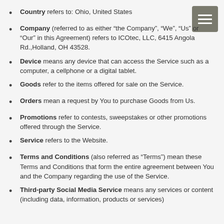Country refers to: Ohio, United States
Company (referred to as either “the Company”, “We”, “Us” or “Our” in this Agreement) refers to ICOtec, LLC, 6415 Angola Rd.,Holland, OH 43528.
Device means any device that can access the Service such as a computer, a cellphone or a digital tablet.
Goods refer to the items offered for sale on the Service.
Orders mean a request by You to purchase Goods from Us.
Promotions refer to contests, sweepstakes or other promotions offered through the Service.
Service refers to the Website.
Terms and Conditions (also referred as “Terms”) mean these Terms and Conditions that form the entire agreement between You and the Company regarding the use of the Service.
Third-party Social Media Service means any services or content (including data, information, products or services)